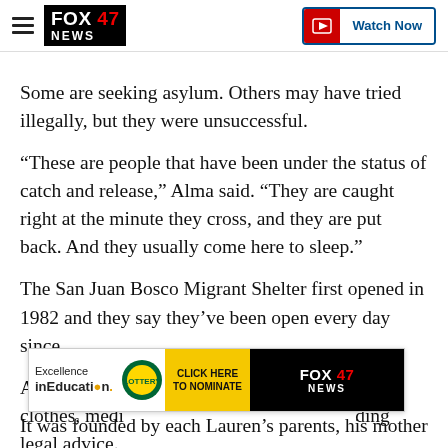FOX 47 NEWS | Watch Now
Some are seeking asylum. Others may have tried illegally, but they were unsuccessful.
“These are people that have been under the status of catch and release,” Alma said. “They are caught right at the minute they cross, and they are put back. And they usually come here to sleep.”
The San Juan Bosco Migrant Shelter first opened in 1982 and they say they’ve been open every day since.
At the shelter, migrants receive a warm meal, clothes, medical attention and advice in finding legal advice.
[Figure (infographic): Advertisement banner: Excellence in Education with Michigan Lottery logo, Click Here to Nominate button, Fox 47 News logo]
It was founded by each Lauren’s parents, his mother